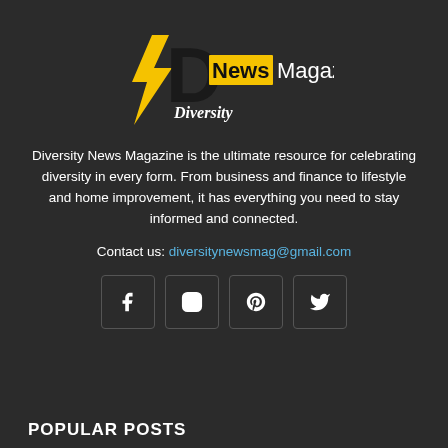[Figure (logo): Diversity News Magazine logo: yellow lightning bolt with black D letter, and 'News Magazine' text with yellow box behind 'News', with 'Diversity' italic text below]
Diversity News Magazine is the ultimate resource for celebrating diversity in every form. From business and finance to lifestyle and home improvement, it has everything you need to stay informed and connected.
Contact us: diversitynewsmag@gmail.com
[Figure (other): Four social media icon boxes: Facebook (f), Instagram, Pinterest (p), Twitter (bird)]
POPULAR POSTS